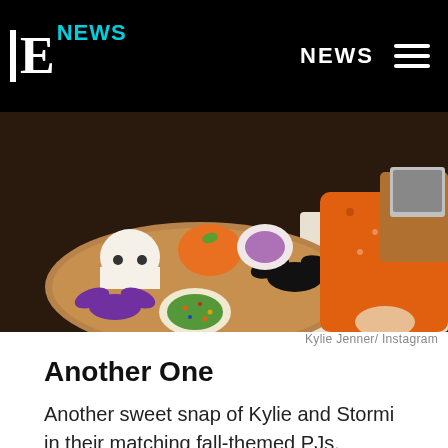E! NEWS | NEWS
[Figure (photo): Decorated Halloween cookies on a wooden board — purple, orange, and black bat and ghost shapes with icing and sprinkles. A person in an orange fall-themed pajama top reaches toward the cookies.]
Kylie Jenner/ Instagram
Another One
Another sweet snap of Kylie and Stormi in their matching fall-themed PJs.